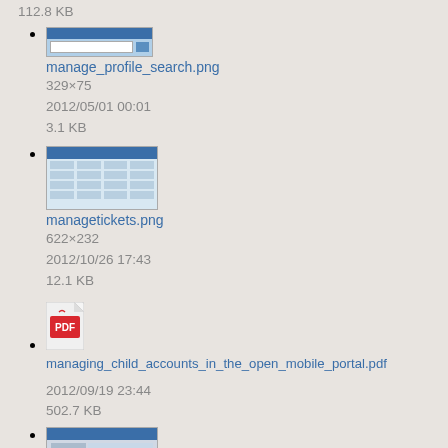112.8 KB
manage_profile_search.png
329×75
2012/05/01 00:01
3.1 KB
managetickets.png
622×232
2012/10/26 17:43
12.1 KB
managing_child_accounts_in_the_open_mobile_portal.pdf
2012/09/19 23:44
502.7 KB
[Figure (screenshot): Thumbnail of a child accounts screenshot at bottom of page]